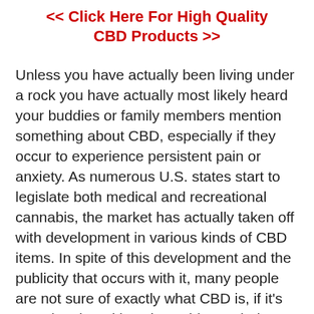<< Click Here For High Quality CBD Products >>
Unless you have actually been living under a rock you have actually most likely heard your buddies or family members mention something about CBD, especially if they occur to experience persistent pain or anxiety. As numerous U.S. states start to legislate both medical and recreational cannabis, the market has actually taken off with development in various kinds of CBD items. In spite of this development and the publicity that occurs with it, many people are not sure of exactly what CBD is, if it's even legal, and how it would even help them. We